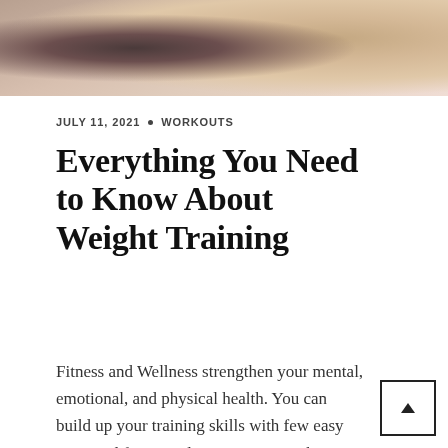[Figure (photo): Cropped photo showing partial view of a person's head and torso with neutral/skin tones and dark clothing]
JULY 11, 2021 • WORKOUTS
Everything You Need to Know About Weight Training
Fitness and Wellness strengthen your mental, emotional, and physical health. You can build up your training skills with few easy steps and functional movements. In this article, you will go through everything you need to know about weight training to …